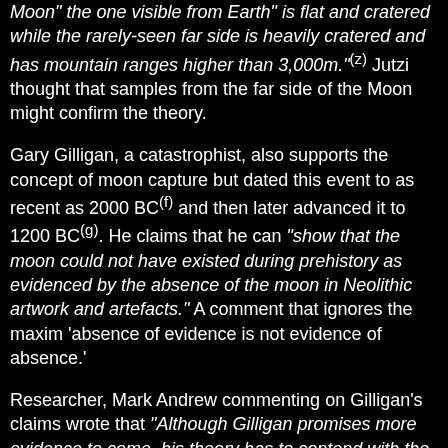Moon" the one visible from Earth" is flat and cratered while the rarely-seen far side is heavily cratered and has mountain ranges higher than 3,000m."(z) Jutzi thought that samples from the far side of the Moon might confirm the theory.
Gary Gilligan, a catastrophist, also supports the concept of moon capture but dated this event to as recent as 2000 BC(f) and then later advanced it to 1200 BC(g). He claims that he can "show that the moon could not have existed during prehistory as evidenced by the absence of the moon in Neolithic artwork and artefacts." A comment that ignores the maxim 'absence of evidence is not evidence of absence.'
Researcher, Mark Andrew commenting on Gilligan's claims wrote that "Although Gilligan promises more evidence to come, his theory has to contend with the varied evidence of an earlier Moon, including the earliest known written myth of the Moon's death and rebirth, the epic poem Descent of Inanna (dating from 1750 BC), and also the oldest known map of the moon (dating from 2800 BC)."(l)
Ticleanu, Constantin & Nicolescu in their paper delivered